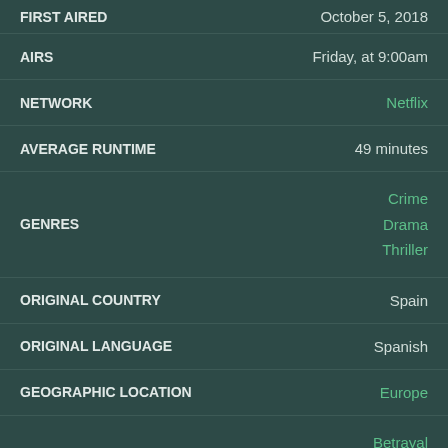| Field | Value |
| --- | --- |
| FIRST AIRED | October 5, 2018 |
| AIRS | Friday, at 9:00am |
| NETWORK | Netflix |
| AVERAGE RUNTIME | 49 minutes |
| GENRES | Crime
Drama
Thriller |
| ORIGINAL COUNTRY | Spain |
| ORIGINAL LANGUAGE | Spanish |
| GEOGRAPHIC LOCATION | Europe |
| PLOT CHARACTERISTICS | Betrayal
Flashbacks
Interracial Love |